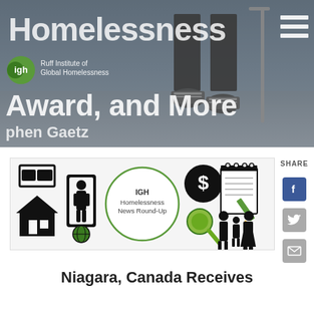[Figure (screenshot): Hero banner image showing 'Homelessness' title text over a photo of feet/legs walking, with IGH (Ruff Institute of Global Homelessness) logo, subtitle text 'Award, and More', author 'phen Gaetz', and a hamburger menu icon in top right]
[Figure (infographic): IGH Homelessness News Round-Up infographic banner with icons: house/bed, person silhouette, globe, dollar sign circle, magnifying glass, family silhouette group, and notepad with pencil]
SHARE
Niagara, Canada Receives